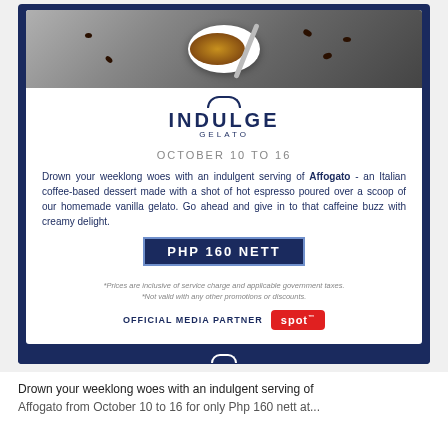[Figure (photo): Coffee affogato in a white bowl with a spoon and scattered coffee beans on a dark background]
INDULGE GELATO
OCTOBER 10 TO 16
Drown your weeklong woes with an indulgent serving of Affogato - an Italian coffee-based dessert made with a shot of hot espresso poured over a scoop of our homemade vanilla gelato. Go ahead and give in to that caffeine buzz with creamy delight.
PHP 160 NETT
*Prices are inclusive of service charge and applicable government taxes. *Not valid with any other promotions or discounts.
OFFICIAL MEDIA PARTNER spot™
NOVOTEL. TIME IS ON YOUR SIDE
Drown your weeklong woes with an indulgent serving of Affogato from October 10 to 16 for only Php 160 nett at...